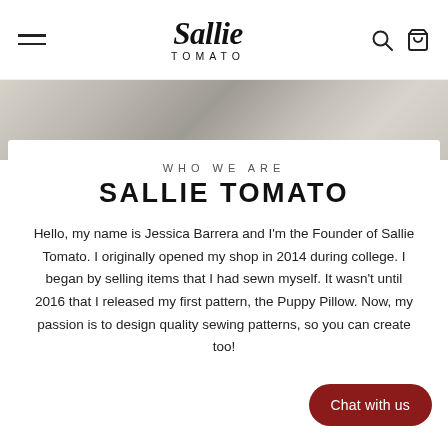Sallie Tomato
[Figure (photo): Partial photo of a person, muted warm tones, used as a decorative banner strip behind the white content card]
WHO WE ARE
SALLIE TOMATO
Hello, my name is Jessica Barrera and I'm the Founder of Sallie Tomato. I originally opened my shop in 2014 during college. I began by selling items that I had sewn myself. It wasn't until 2016 that I released my first pattern, the Puppy Pillow. Now, my passion is to design quality sewing patterns, so you can create too!
Chat with us